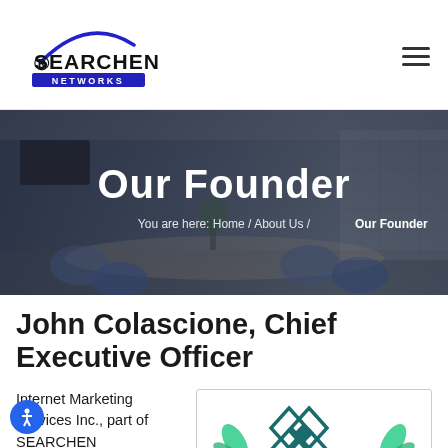SEARCHEN NETWORKS
[Figure (photo): Office conference room with blue chairs, meeting table, and TV mounted on wall, overlaid with dark semi-transparent mask]
Our Founder
You are here: Home / About Us / Our Founder
John Colascione, Chief Executive Officer
Internet Marketing Services Inc., part of SEARCHEN
[Figure (logo): Expertise logo with teal diamond pattern and green leaf accents]